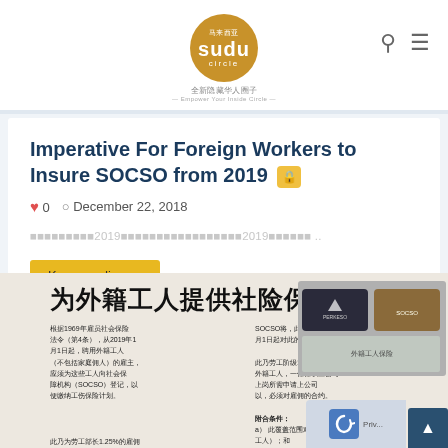sudu circle — 全新隐藏华人圈子
Imperative For Foreign Workers to Insure SOCSO from 2019 🔒
0  December 22, 2018
外籍工人 2019 社会保障 2019 ..
Keep reading →
[Figure (photo): Newspaper clipping in Chinese about SOCSO social insurance for foreign workers from 2019, with SOCSO cards visible on the right]